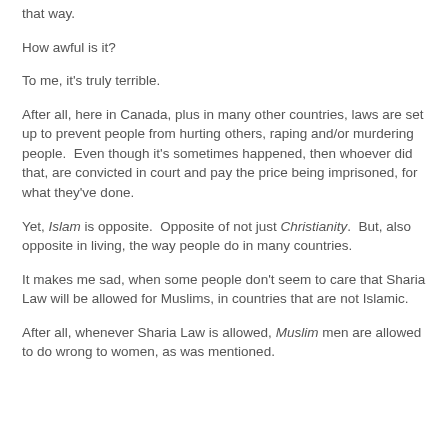that way.
How awful is it?
To me, it's truly terrible.
After all, here in Canada, plus in many other countries, laws are set up to prevent people from hurting others, raping and/or murdering people.  Even though it's sometimes happened, then whoever did that, are convicted in court and pay the price being imprisoned, for what they've done.
Yet, Islam is opposite.  Opposite of not just Christianity.  But, also opposite in living, the way people do in many countries.
It makes me sad, when some people don't seem to care that Sharia Law will be allowed for Muslims, in countries that are not Islamic.
After all, whenever Sharia Law is allowed, Muslim men are allowed to do wrong to women, as was mentioned.